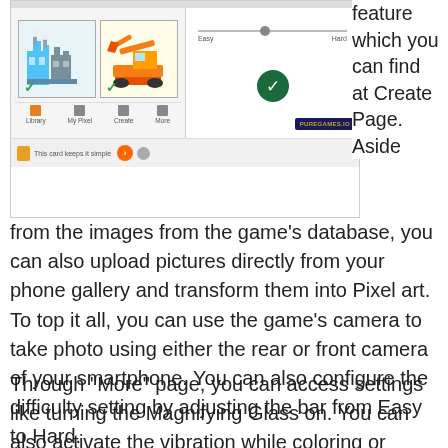[Figure (screenshot): Two mobile app screenshots showing a pixel art coloring game interface with image selection panel, difficulty slider (Easy to Hard), checkmark button, and PureGames.io logo]
feature which you can find at Create Page. Aside from the images from the game's database, you can also upload pictures directly from your phone gallery and transform them into Pixel art. To top it all, you can use the game's camera to take photo using either the rear or front camera of your smartphone. You can also configure the difficulty setting by adjusting the bar from Easy to Hard.
Through “More” page, you can access settings like turning the Magnifying Glass on. You can also activate the vibration while coloring or every time you hit a wrong pixel. Basically, if you want to go for a challenge, you can simply turn off all the guides (highlighting cells, Magnifying glass